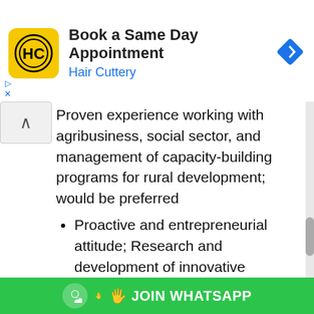[Figure (screenshot): Hair Cuttery advertisement banner with yellow logo, 'Book a Same Day Appointment' heading, and blue navigation arrow icon]
Proven experience working with agribusiness, social sector, and management of capacity-building programs for rural development; would be preferred
Proactive and entrepreneurial attitude; Research and development of innovative approaches that appeal to rural and urban/suburban entrepreneurs/farmers.
Excellent networking skills; Ability to relate to the public and private sectors.
Excellent communication skills (written and verbal), reporting and presentation skills
[Figure (screenshot): Green JOIN WHATSAPP banner at the bottom with bell notification icon and hand pointing emoji]